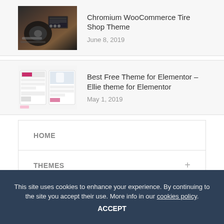[Figure (photo): Thumbnail image of a vehicle/tire shop theme showing a dark car]
Chromium WooCommerce Tire Shop Theme
June 8, 2019
[Figure (screenshot): Thumbnail showing Ellie theme mockup with design elements]
Best Free Theme for Elementor – Ellie theme for Elementor
May 1, 2019
HOME
THEMES
BLOG
This site uses cookies to enhance your experience. By continuing to the site you accept their use. More info in our cookies policy.
ACCEPT